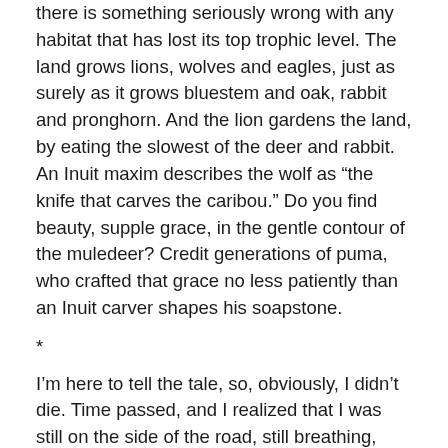there is something seriously wrong with any habitat that has lost its top trophic level. The land grows lions, wolves and eagles, just as surely as it grows bluestem and oak, rabbit and pronghorn. And the lion gardens the land, by eating the slowest of the deer and rabbit. An Inuit maxim describes the wolf as “the knife that carves the caribou.” Do you find beauty, supple grace, in the gentle contour of the muledeer? Credit generations of puma, who crafted that grace no less patiently than an Inuit carver shapes his soapstone.
*
I’m here to tell the tale, so, obviously, I didn’t die. Time passed, and I realized that I was still on the side of the road, still breathing, and that my fear sweat had grown cold. It had been ten minutes at least. I looked over, somewhat warily. No puma in sight. I didn’t smell enough